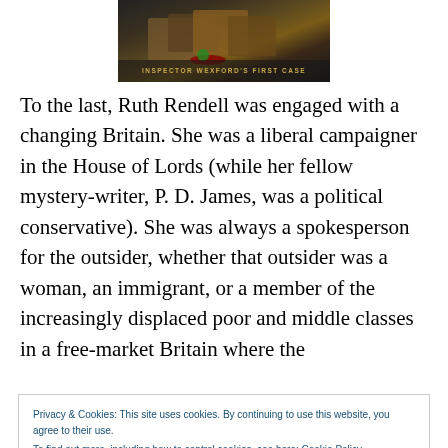[Figure (photo): Book cover image showing 'Inspector Wexford's First Case' with books on a wooden surface, partially visible at the top of the page]
To the last, Ruth Rendell was engaged with a changing Britain. She was a liberal campaigner in the House of Lords (while her fellow mystery-writer, P. D. James, was a political conservative). She was always a spokesperson for the outsider, whether that outsider was a woman, an immigrant, or a member of the increasingly displaced poor and middle classes in a free-market Britain where the
Privacy & Cookies: This site uses cookies. By continuing to use this website, you agree to their use.
To find out more, including how to control cookies, see here: Cookie Policy
[Close and accept button]